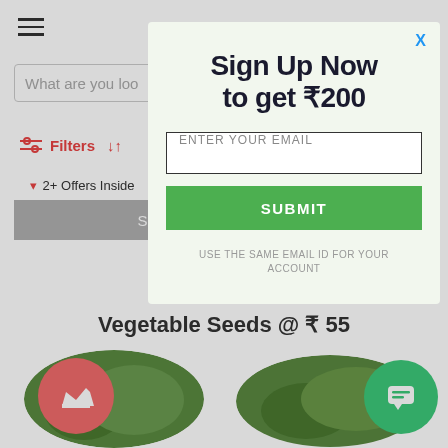[Figure (screenshot): Mobile e-commerce website background showing hamburger menu, search bar, filters, sold out button, and vegetable seeds section]
[Figure (infographic): Modal popup overlay with sign-up form offering ₹200 discount. Contains title 'Sign Up Now to get ₹200', email input field, submit button, and disclaimer text.]
Sign Up Now to get ₹200
ENTER YOUR EMAIL
SUBMIT
USE THE SAME EMAIL ID FOR YOUR ACCOUNT
Vegetable Seeds @ ₹ 55